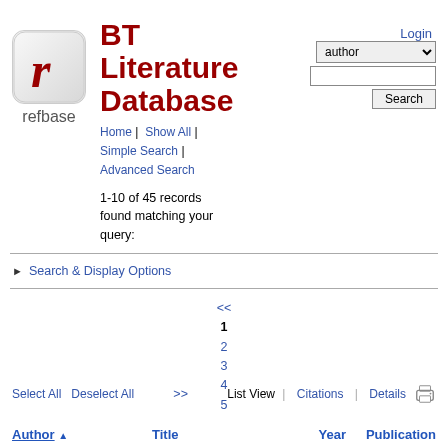[Figure (logo): Refbase logo: stylized red italic r in a rounded square, with 'refbase' text below]
BT Literature Database
Home | Show All | Simple Search | Advanced Search
Login
1-10 of 45 records found matching your query:
Search & Display Options
<< 1 2 3 4 5 >>
Select All   Deselect All
List View | Citations | Details
Author ↑   Title   Year   Publication